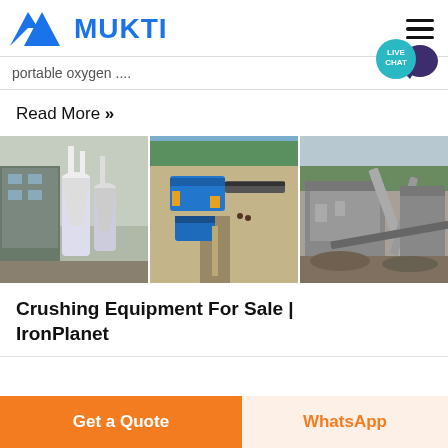MUKTI
portable oxygen ....
Read More »
[Figure (photo): Three industrial crushing/mineral processing equipment photos side by side: left shows industrial dust collection equipment with white pipes and cylindrical units, center shows aerial view of blue crushing machinery at a construction/mining site, right shows a quarry with stone crushing machinery and conveyor belts.]
Crushing Equipment For Sale | IronPlanet
Get a Quote
WhatsApp